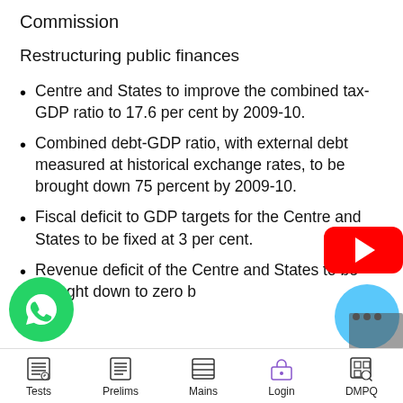Commission
Restructuring public finances
Centre and States to improve the combined tax-GDP ratio to 17.6 per cent by 2009-10.
Combined debt-GDP ratio, with external debt measured at historical exchange rates, to be brought down 75 percent by 2009-10.
Fiscal deficit to GDP targets for the Centre and States to be fixed at 3 per cent.
Revenue deficit of the Centre and States to be brought down to zero b…
Tests    Prelims    Mains    Login    DMPQ